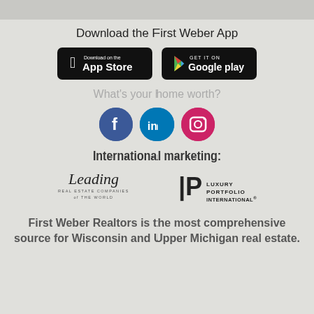Download the First Weber App
[Figure (logo): App Store download button (black rounded rectangle with Apple logo and 'Download on the App Store' text)]
[Figure (logo): Google Play download button (black rounded rectangle with Google Play logo and 'GET IT ON Google play' text)]
What's your home worth?
[Figure (logo): Social media icons: Facebook (blue circle with f), LinkedIn (blue circle with in), Instagram (pink circle with camera icon)]
International marketing:
[Figure (logo): Leading Real Estate Companies of The World logo]
[Figure (logo): Luxury Portfolio International logo]
First Weber Realtors is the most comprehensive source for Wisconsin and Upper Michigan real estate.